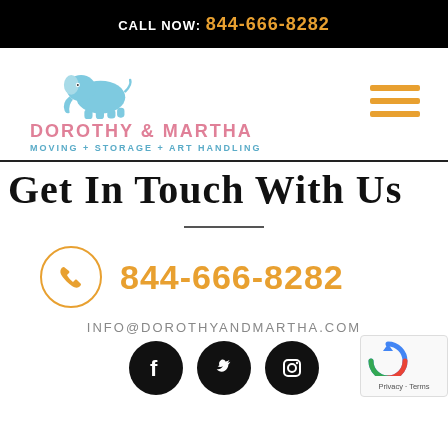CALL NOW: 844-666-8282
[Figure (logo): Dorothy & Martha Moving + Storage + Art Handling logo with blue elephant graphic, pink company name, and blue tagline. Hamburger menu icon in orange on the right.]
Get In Touch With Us
844-666-8282
INFO@DOROTHYANDMARTHA.COM
[Figure (illustration): Social media icons: Facebook, Twitter, Instagram in black circles]